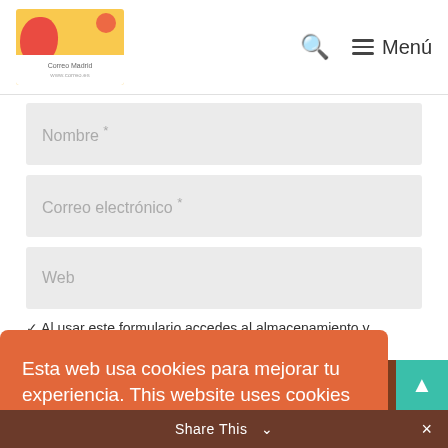Correo Madrid — Search — Menú
Nombre *
Correo electrónico *
Web
Al usar este formulario accedes al almacenamiento y
Esta web usa cookies para mejorar tu experiencia. This website uses cookies to ensure you get the best experience.
Más info - Learn more
OK
Share This  ×
Spanish Lessons for DLL